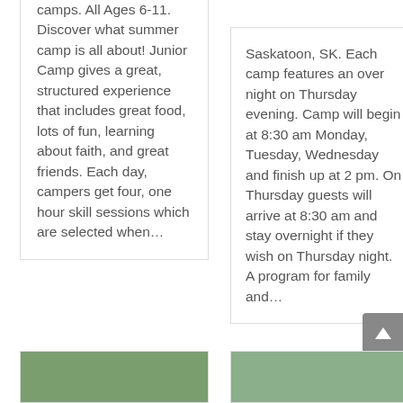camps. All Ages 6-11. Discover what summer camp is all about! Junior Camp gives a great, structured experience that includes great food, lots of fun, learning about faith, and great friends. Each day, campers get four, one hour skill sessions which are selected when…
Saskatoon, SK. Each camp features an over night on Thursday evening. Camp will begin at 8:30 am Monday, Tuesday, Wednesday and finish up at 2 pm. On Thursday guests will arrive at 8:30 am and stay overnight if they wish on Thursday night. A program for family and…
[Figure (photo): Partial photo visible at bottom left corner of page]
[Figure (photo): Partial photo visible at bottom right corner of page]